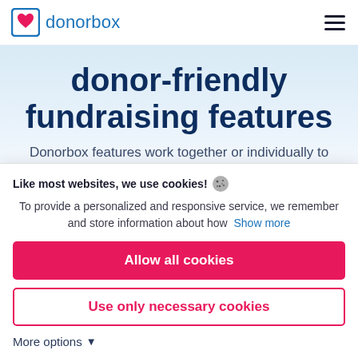[Figure (logo): Donorbox logo: blue square bracket icon with red heart, followed by 'donorbox' text in blue]
donor-friendly fundraising features
Donorbox features work together or individually to
Like most websites, we use cookies! 🍪
To provide a personalized and responsive service, we remember and store information about how  Show more
Allow all cookies
Use only necessary cookies
More options ▾